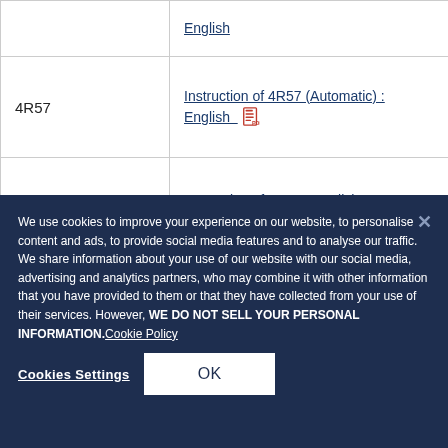| Model | Document |
| --- | --- |
|  | English |
| 4R57 | Instruction of 4R57 (Automatic) : English [PDF] |
| 4R71 | Instruction of 4R71 : English |
|  |  |
We use cookies to improve your experience on our website, to personalise content and ads, to provide social media features and to analyse our traffic. We share information about your use of our website with our social media, advertising and analytics partners, who may combine it with other information that you have provided to them or that they have collected from your use of their services. However, WE DO NOT SELL YOUR PERSONAL INFORMATION. Cookie Policy
Cookies Settings | OK